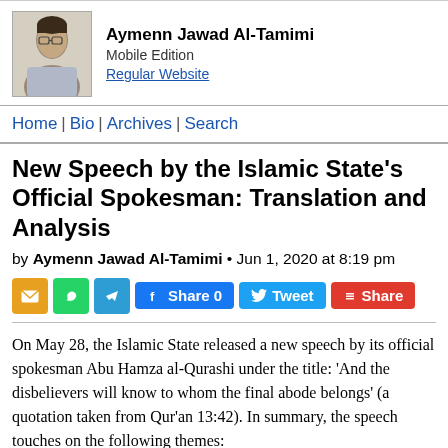Aymenn Jawad Al-Tamimi | Mobile Edition | Regular Website
Home | Bio | Archives | Search
New Speech by the Islamic State's Official Spokesman: Translation and Analysis
by Aymenn Jawad Al-Tamimi • Jun 1, 2020 at 8:19 pm
[Figure (other): Social sharing buttons: email, WhatsApp, Telegram, Facebook Share 0, Tweet, Share]
On May 28, the Islamic State released a new speech by its official spokesman Abu Hamza al-Qurashi under the title: 'And the disbelievers will know to whom the final abode belongs' (a quotation taken from Qur'an 13:42). In summary, the speech touches on the following themes:
. The coronavirus epidemic as the punishment of God against the